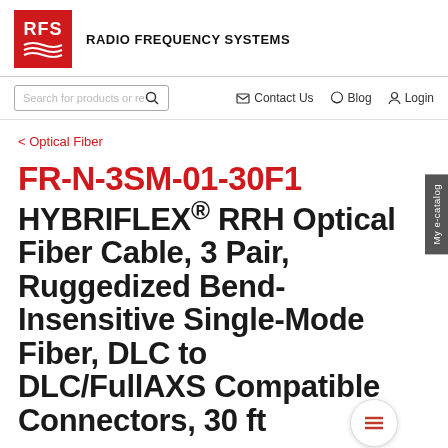RFS RADIO FREQUENCY SYSTEMS
< Optical Fiber
FR-N-3SM-01-30F1 HYBRIFLEX® RRH Optical Fiber Cable, 3 Pair, Ruggedized Bend-Insensitive Single-Mode Fiber, DLC to DLC/FullAXS Compatible Connectors, 30 ft